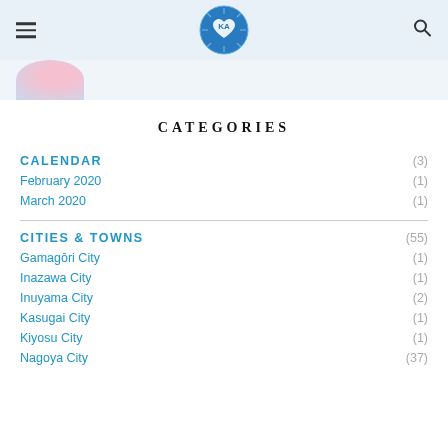KA logo header with hamburger menu and search icon
[Figure (illustration): Partial profile/avatar image visible at top left, pink and blue tones, circular crop]
CATEGORIES
CALENDAR (3)
February 2020 (1)
March 2020 (1)
CITIES & TOWNS (55)
Gamagōri City (1)
Inazawa City (1)
Inuyama City (2)
Kasugai City (1)
Kiyosu City (1)
Nagoya City (37)